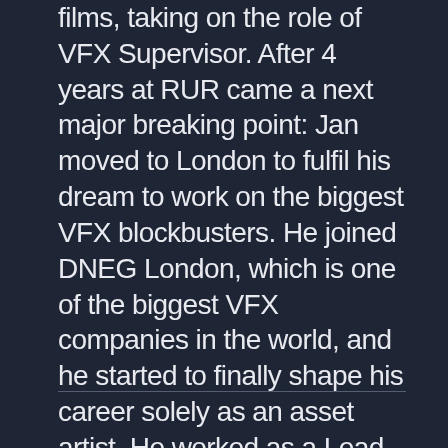films, taking on the role of VFX Supervisor. After 4 years at RUR came a next major breaking point: Jan moved to London to fulfil his dream to work on the biggest VFX blockbusters. He joined DNEG London, which is one of the biggest VFX companies in the world, and he started to finally shape his career solely as an asset artist. He worked as a Lead Asset Artist at DNEG on projects such as Avengers: Endgame, Pacific Rim: Uprising, Venom and many others. Right now Jan is back in Prague and he is developing his freelance career again.